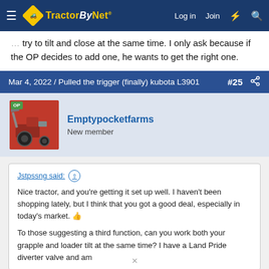TractorByNet — Log in | Join
try to tilt and close at the same time. I only ask because if the OP decides to add one, he wants to get the right one.
Mar 4, 2022 / Pulled the trigger (finally) kubota L3901  #25
Emptypocketfarms
New member
Jstpssng said: ↑
Nice tractor, and you're getting it set up well. I haven't been shopping lately, but I think that you got a good deal, especially in today's market. 👍
To those suggesting a third function, can you work both your grapple and loader tilt at the same time? I have a Land Pride diverter valve and am